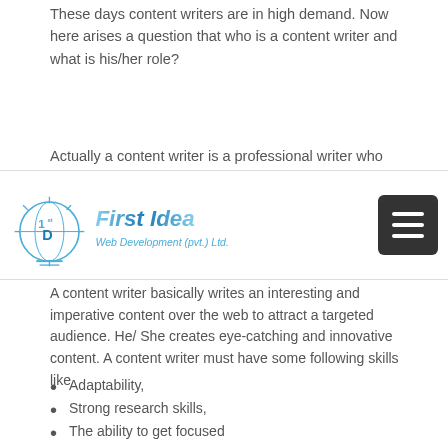These days content writers are in high demand. Now here arises a question that who is a content writer and what is his/her role?
Actually a content writer is a professional writer who
[Figure (logo): First Idea Web Development (pvt.) Ltd. logo with a lightbulb/globe icon and menu button]
A content writer basically writes an interesting and imperative content over the web to attract a targeted audience. He/ She creates eye-catching and innovative content. A content writer must have some following skills like
Adaptability,
Strong research skills,
The ability to get focused
And so on...!
These days, there are many